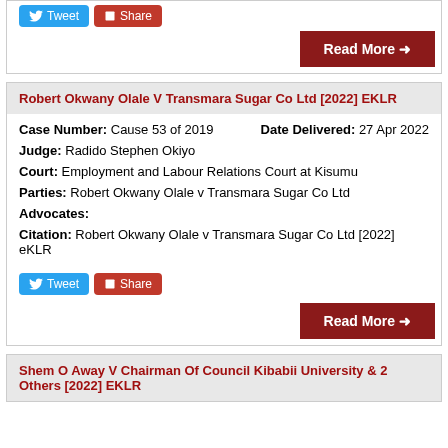Robert Okwany Olale V Transmara Sugar Co Ltd [2022] EKLR
Case Number: Cause 53 of 2019 | Date Delivered: 27 Apr 2022
Judge: Radido Stephen Okiyo
Court: Employment and Labour Relations Court at Kisumu
Parties: Robert Okwany Olale v Transmara Sugar Co Ltd
Advocates:
Citation: Robert Okwany Olale v Transmara Sugar Co Ltd [2022] eKLR
Shem O Away V Chairman Of Council Kibabii University & 2 Others [2022] EKLR